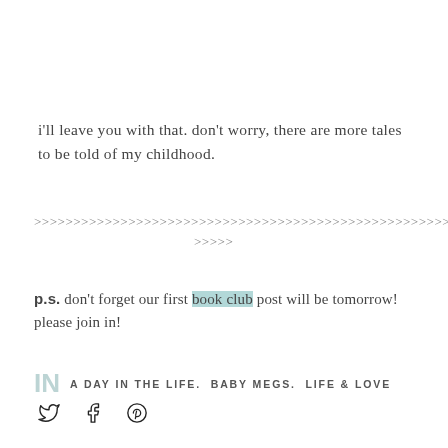i'll leave you with that. don't worry, there are more tales to be told of my childhood.
>>>>>>>>>>>>>>>>>>>>>>>>>>>>>>>>>>>>>>>>>>>>>>>>>>>>>>>>
>>>>>
p.s. don't forget our first book club post will be tomorrow! please join in!
IN  A DAY IN THE LIFE.  BABY MEGS.  LIFE & LOVE
[Figure (other): Social media icons: Twitter bird, Facebook f, Pinterest circle]